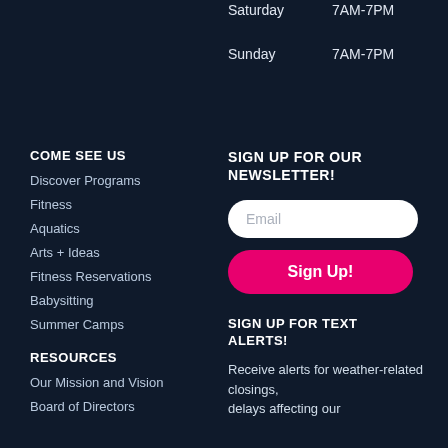Saturday  7AM-7PM
Sunday  7AM-7PM
COME SEE US
Discover Programs
Fitness
Aquatics
Arts + Ideas
Fitness Reservations
Babysitting
Summer Camps
RESOURCES
Our Mission and Vision
Board of Directors
SIGN UP FOR OUR NEWSLETTER!
Email
Sign Up!
SIGN UP FOR TEXT ALERTS!
Receive alerts for weather-related closings, delays affecting our